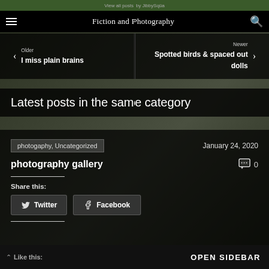View all posts by JibbySqüa
Fiction and Photography
< Older
I miss plain brains
Newer >
Spotted birds & spaced out dolls
Latest posts in the same category
photogaphy, Uncategorized	January 24, 2020
photography gallery
0
Share this:
Twitter
Facebook
Like this:
OPEN SIDEBAR